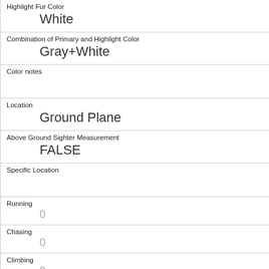| Highlight Fur Color | White |
| Combination of Primary and Highlight Color | Gray+White |
| Color notes |  |
| Location | Ground Plane |
| Above Ground Sighter Measurement | FALSE |
| Specific Location |  |
| Running | 0 |
| Chasing | 0 |
| Climbing | 0 |
| Eating | 0 |
| Foraging |  |